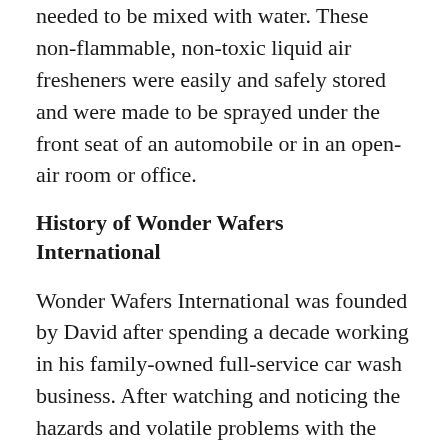needed to be mixed with water. These non-flammable, non-toxic liquid air fresheners were easily and safely stored and were made to be sprayed under the front seat of an automobile or in an open-air room or office.
History of Wonder Wafers International
Wonder Wafers International was founded by David after spending a decade working in his family-owned full-service car wash business. After watching and noticing the hazards and volatile problems with the commercial and retail air fresheners during his tenure, he decided to follow his passion for fixing and alleviating these problems.
In short, his brand and formula were so unique